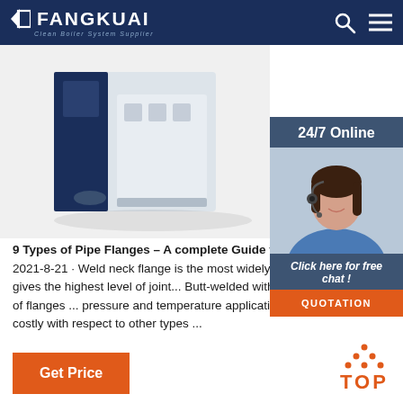FANGKUAI – Clean Boiler System Supplier
[Figure (photo): Industrial boiler unit in white and dark navy casing, partially visible, on white background]
[Figure (photo): 24/7 Online customer service widget showing a smiling woman with headset, with 'Click here for free chat!' text and QUOTATION button]
9 Types of Pipe Flanges – A complete Guide for B... 2021-8-21 · Weld neck flange is the most widely... process piping. It gives the highest level of joint... Butt-welded with a pipe. These types of flanges ... pressure and temperature application. Weld ne... Bulky & costly with respect to other types ...
Get Price
TOP